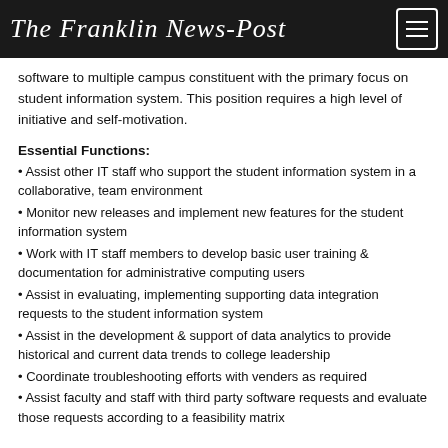The Franklin News-Post
software to multiple campus constituent with the primary focus on student information system. This position requires a high level of initiative and self-motivation.
Essential Functions:
• Assist other IT staff who support the student information system in a collaborative, team environment
• Monitor new releases and implement new features for the student information system
• Work with IT staff members to develop basic user training & documentation for administrative computing users
• Assist in evaluating, implementing supporting data integration requests to the student information system
• Assist in the development & support of data analytics to provide historical and current data trends to college leadership
• Coordinate troubleshooting efforts with venders as required
• Assist faculty and staff with third party software requests and evaluate those requests according to a feasibility matrix